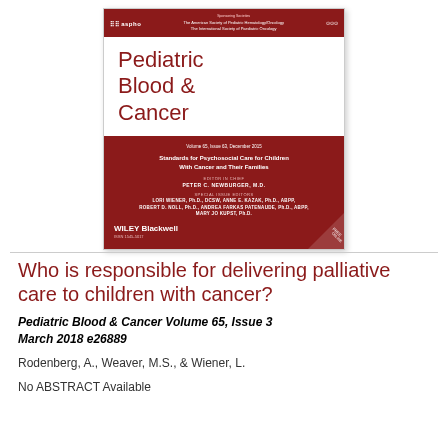[Figure (illustration): Cover image of Pediatric Blood & Cancer journal, Volume 65 Issue 3, December 2015 special issue on Standards for Psychosocial Care for Children With Cancer and Their Families. Published by Wiley Blackwell. Editors listed including Peter C. Newburger, M.D. and special issue editors Lori Wiener, Anne E. Kazak, Robert D. Noll, Andrea Farkas Patenaude, Mary Jo Kupst.]
Who is responsible for delivering palliative care to children with cancer?
Pediatric Blood & Cancer Volume 65, Issue 3 March 2018 e26889
Rodenberg, A., Weaver, M.S., & Wiener, L.
No ABSTRACT Available